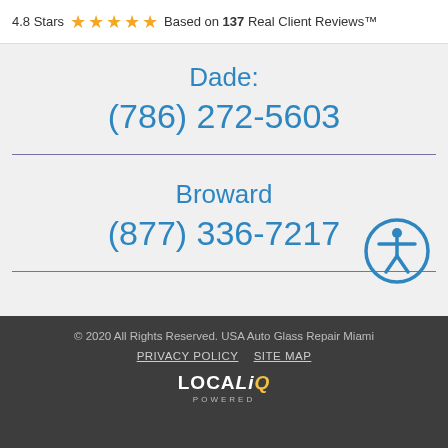4.8 Stars ★★★★★ Based on 137 Real Client Reviews™
Dade: (786) 272-5603
Broward (877) 336-7217
[Figure (other): Accessibility icon — circular blue button with a white person figure]
© 2020 All Rights Reserved. USA Auto Glass Repair Miami
PRIVACY POLICY   SITE MAP
LOCALiQ POWERED